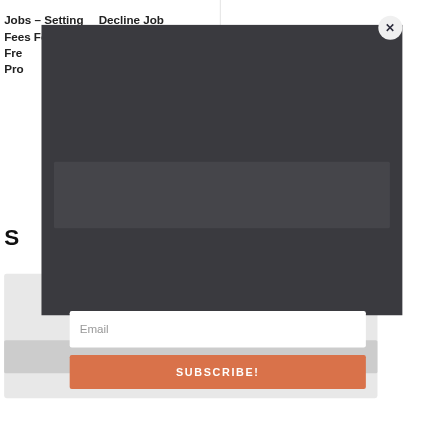Jobs – Setting Fees For Freelance... Pro...
Decline Job Offer – ...or ...ing ...cts
S...
[Figure (screenshot): Dark modal overlay on a webpage with an email subscription form. Contains a white email input field with placeholder text 'Email' and an orange 'SUBSCRIBE!' button. A close (×) button appears in the upper-right corner of the modal.]